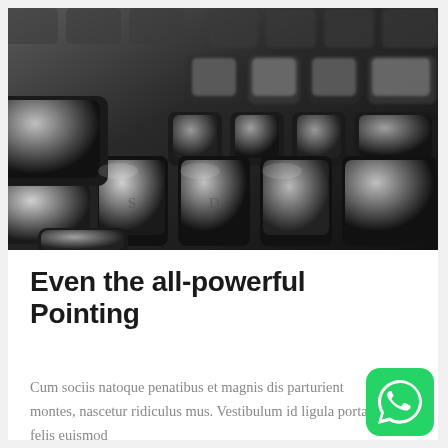[Figure (photo): Close-up black and white photograph of vintage typewriter keys, showing multiple rows of round typewriter key caps in sharp and blurred focus]
Even the all-powerful Pointing
Cum sociis natoque penatibus et magnis dis parturient montes, nascetur ridiculus mus. Vestibulum id ligula porta felis euismod
[Figure (logo): WhatsApp logo icon — green rounded square with white telephone handset in speech bubble]